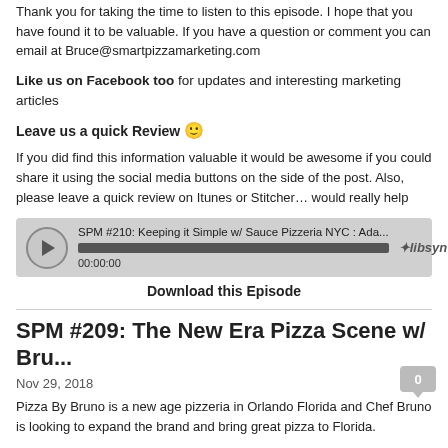Thank you for taking the time to listen to this episode. I hope that you have found it to be valuable. If you have a question or comment you can email at Bruce@smartpizzamarketing.com
Like us on Facebook too for updates and interesting marketing articles
Leave us a quick Review 🙂
If you did find this information valuable it would be awesome if you could share it using the social media buttons on the side of the post. Also, please leave a quick review on Itunes or Stitcher… would really help
[Figure (screenshot): Audio player widget showing SPM #210: Keeping it Simple w/ Sauce Pizzeria NYC : Ada... with play button, progress bar at 00:00:00, and libsyn logo]
Download this Episode
SPM #209: The New Era Pizza Scene w/ Bru...
Nov 29, 2018
Pizza By Bruno is a new age pizzeria in Orlando Florida and Chef Bruno is looking to expand the brand and bring great pizza to Florida.